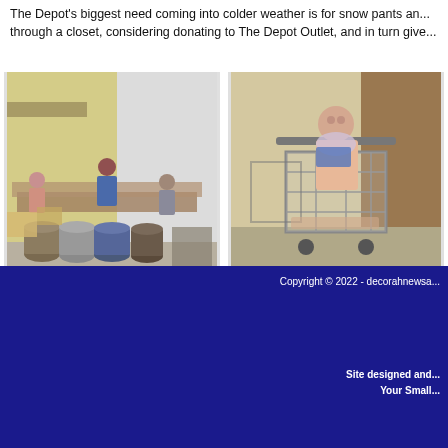The Depot's biggest need coming into colder weather is for snow pants an... through a closet, considering donating to The Depot Outlet, and in turn give...
[Figure (photo): Employees sorting through donations in a warehouse with trash cans and tables.]
L to R: Employees Brittany Hanson, Keri Caceres, and Pam Sanderson sort through donations
[Figure (photo): Volunteer Barbara Grant standing with a shopping cart ready to put out merchandise for resale.]
Volunteer Barbara Grant is ready to put out merchandise for resale
Copyright © 2022 - decorahnewsa...
Site designed and... Your Small...